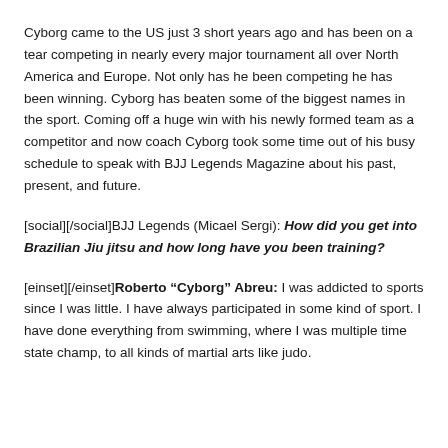Cyborg came to the US just 3 short years ago and has been on a tear competing in nearly every major tournament all over North America and Europe. Not only has he been competing he has been winning. Cyborg has beaten some of the biggest names in the sport. Coming off a huge win with his newly formed team as a competitor and now coach Cyborg took some time out of his busy schedule to speak with BJJ Legends Magazine about his past, present, and future.
[social][/social]BJJ Legends (Micael Sergi): How did you get into Brazilian Jiu jitsu and how long have you been training?
[einset][/einset]Roberto “Cyborg” Abreu: I was addicted to sports since I was little. I have always participated in some kind of sport. I have done everything from swimming, where I was multiple time state champ, to all kinds of martial arts like judo.